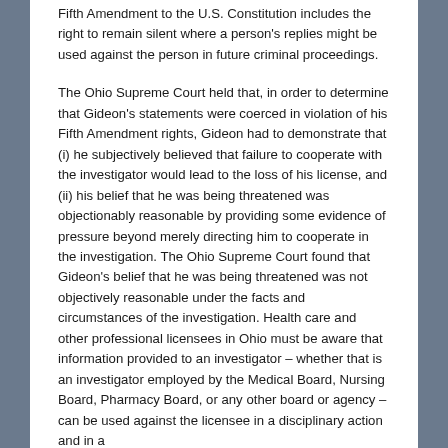Fifth Amendment to the U.S. Constitution includes the right to remain silent where a person's replies might be used against the person in future criminal proceedings.
The Ohio Supreme Court held that, in order to determine that Gideon's statements were coerced in violation of his Fifth Amendment rights, Gideon had to demonstrate that (i) he subjectively believed that failure to cooperate with the investigator would lead to the loss of his license, and (ii) his belief that he was being threatened was objectionably reasonable by providing some evidence of pressure beyond merely directing him to cooperate in the investigation. The Ohio Supreme Court found that Gideon's belief that he was being threatened was not objectively reasonable under the facts and circumstances of the investigation. Health care and other professional licensees in Ohio must be aware that information provided to an investigator – whether that is an investigator employed by the Medical Board, Nursing Board, Pharmacy Board, or any other board or agency – can be used against the licensee in a disciplinary action and in a